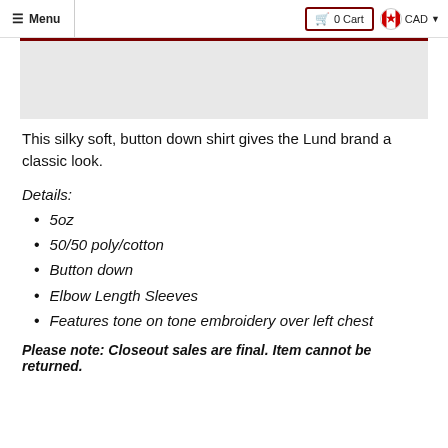Menu  0 Cart  CAD
[Figure (screenshot): Gray image area with dark red top border, part of a product page image region]
This silky soft, button down shirt gives the Lund brand a classic look.
Details:
5oz
50/50 poly/cotton
Button down
Elbow Length Sleeves
Features tone on tone embroidery over left chest
Please note: Closeout sales are final. Item cannot be returned.